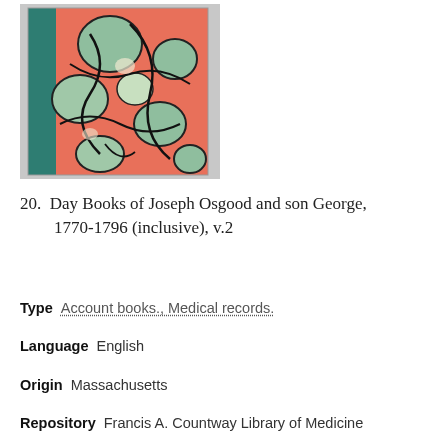[Figure (photo): Photo of a marbled book cover with teal spine and red, green, and black marbled pattern on the cover.]
20.  Day Books of Joseph Osgood and son George, 1770-1796 (inclusive), v.2
Type   Account books., Medical records.
Language   English
Origin   Massachusetts
Repository   Francis A. Countway Library of Medicine